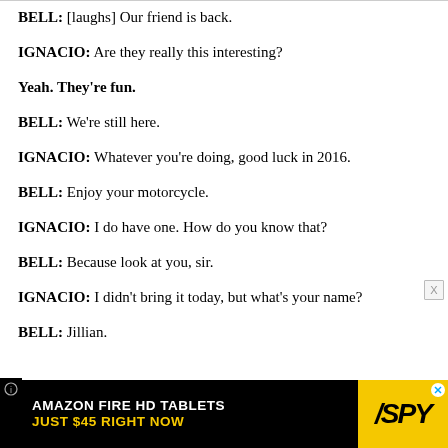BELL: [laughs] Our friend is back.
IGNACIO: Are they really this interesting?
Yeah. They're fun.
BELL: We're still here.
IGNACIO: Whatever you're doing, good luck in 2016.
BELL: Enjoy your motorcycle.
IGNACIO: I do have one. How do you know that?
BELL: Because look at you, sir.
IGNACIO: I didn't bring it today, but what's your name?
BELL: Jillian.
[Figure (infographic): Advertisement banner for Amazon Fire HD Tablets - Just $45 Right Now, with SPY logo on yellow background]